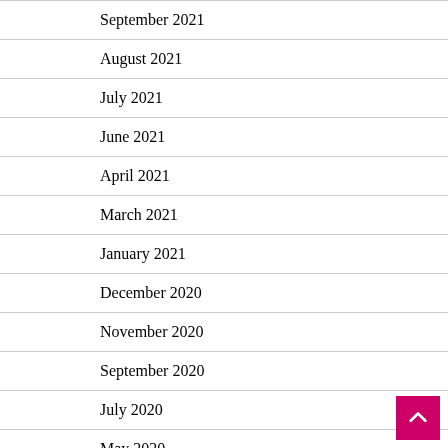September 2021
August 2021
July 2021
June 2021
April 2021
March 2021
January 2021
December 2020
November 2020
September 2020
July 2020
May 2020
February 2020